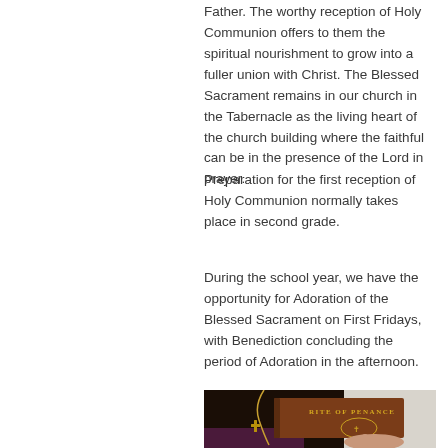Father. The worthy reception of Holy Communion offers to them the spiritual nourishment to grow into a fuller union with Christ. The Blessed Sacrament remains in our church in the Tabernacle as the living heart of the church building where the faithful can be in the presence of the Lord in prayer.
Preparation for the first reception of Holy Communion normally takes place in second grade.
During the school year, we have the opportunity for Adoration of the Blessed Sacrament on First Fridays, with Benediction concluding the period of Adoration in the afternoon.
[Figure (photo): A priest holding a brown book titled 'RITE OF PENANCE' with gold lettering and a decorative cross emblem, wearing white vestments with a gold chain and cross necklace visible.]